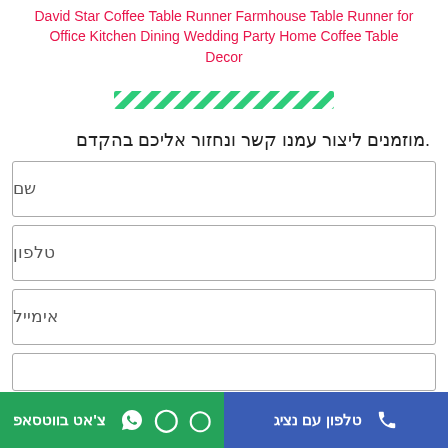David Star Coffee Table Runner Farmhouse Table Runner for Office Kitchen Dining Wedding Party Home Coffee Table Decor
[Figure (other): Green diagonal striped decorative bar/divider element]
מוזמנים ליצור עמנו קשר ונחזור אליכם בהקדם.
שם
טלפון
אימייל
צ'אט בווטסאפ | טלפון עם נציג